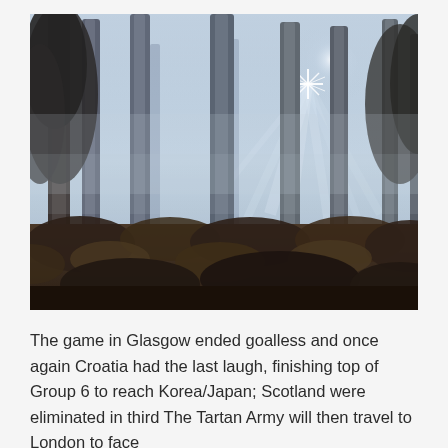[Figure (photo): A misty forest scene with tall thin tree trunks in blue-grey tones, sunlight rays bursting through the trees in the upper right, with dark undergrowth of shrubs and grass in the foreground.]
The game in Glasgow ended goalless and once again Croatia had the last laugh, finishing top of Group 6 to reach Korea/Japan; Scotland were eliminated in third The Tartan Army will then travel to London to face